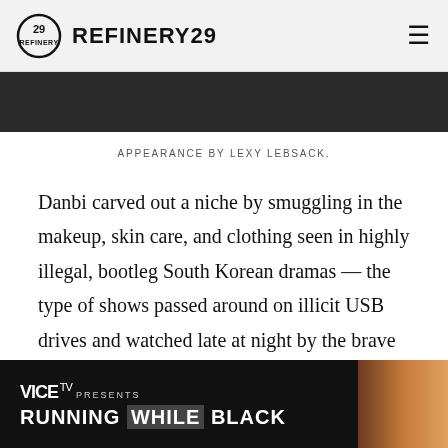REFINERY29
[Figure (photo): Dark image strip showing part of a person's face/hair in a dark background]
APPEARANCE BY LEXY LEBSACK.
Danbi carved out a niche by smuggling in the makeup, skin care, and clothing seen in highly illegal, bootleg South Korean dramas — the type of shows passed around on illicit USB drives and watched late at night by the brave and curious. It’s through this practice that many North Korean women learn about the outside world for the very first time and become fascinated with foreign concepts like self expression and glamour.
[Figure (screenshot): VICE TV Presents: RUNNING WHILE BLACK advertisement banner with photo of a person at right]